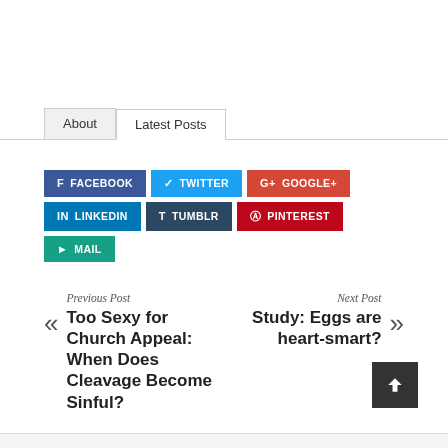About | Latest Posts
[Figure (infographic): Social share buttons: Facebook, Twitter, Google+, LinkedIn, Tumblr, Pinterest, Mail]
Previous Post
« Too Sexy for Church Appeal: When Does Cleavage Become Sinful?
Next Post
Study: Eggs are heart-smart? »